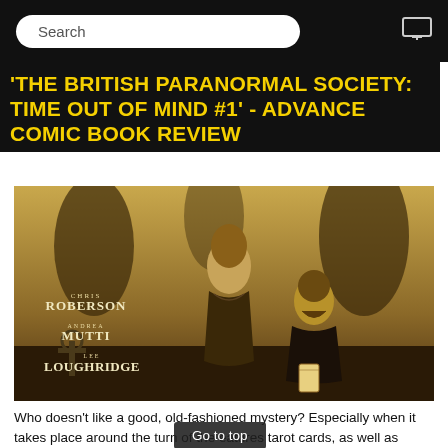Search
'THE BRITISH PARANORMAL SOCIETY: TIME OUT OF MIND #1' - ADVANCE COMIC BOOK REVIEW
[Figure (illustration): Sepia-toned comic book cover art showing a Victorian woman standing and a bearded man seated, in a dark atmospheric graveyard setting. Text on cover reads: CHRIS ROBERSON, ANDREA MUTTI, LEE LOUGHRIDGE.]
Who doesn't like a good, old-fashioned mystery? Especially when it takes place around the turn of the [century and] features tarot cards, as well as thought transference, and [other] strange